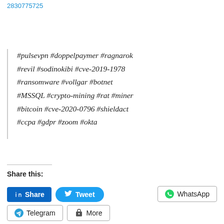2830775725
#pulsevpn #doppelpaymer #ragnarok #revil #sodinokibi #cve-2019-1978 #ransomware #vollgar #botnet #MSSQL #crypto-mining #rat #miner #bitcoin #cve-2020-0796 #shieldact #ccpa #gdpr #zoom #okta
Share this:
Share
Tweet
WhatsApp
Telegram
More